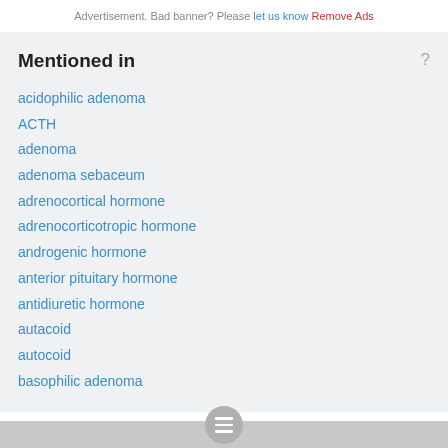Advertisement. Bad banner? Please let us know Remove Ads
Mentioned in
acidophilic adenoma
ACTH
adenoma
adenoma sebaceum
adrenocortical hormone
adrenocorticotropic hormone
androgenic hormone
anterior pituitary hormone
antidiuretic hormone
autacoid
autocoid
basophilic adenoma
Medical browser